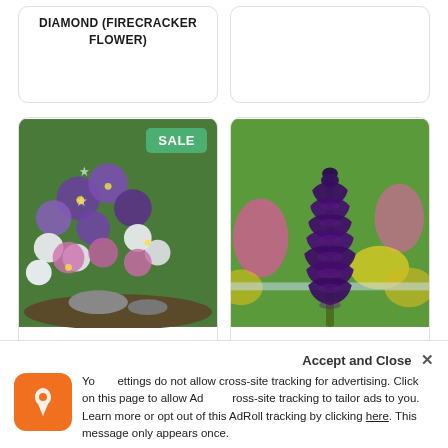DIAMOND (FIRECRACKER FLOWER)
[Figure (photo): Chionodoxa Spring Singalong Mix - purple, pink and white star-shaped flowers with SALE badge]
[Figure (photo): Fritillaria Persica Plum Bells - tall spike of dark purple hanging bell-shaped flowers with colorful blurred background]
CHIONODOXA SPRING SINGALONG MIX
FRITILLARIA PERSICA PLUM BELLS
Accept and Close ✕
Your settings do not allow cross-site tracking for advertising. Click on this page to allow AdRoll cross-site tracking to tailor ads to you. Learn more or opt out of this AdRoll tracking by clicking here. This message only appears once.